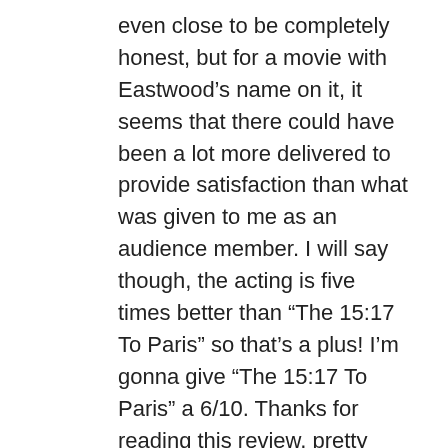even close to be completely honest, but for a movie with Eastwood’s name on it, it seems that there could have been a lot more delivered to provide satisfaction than what was given to me as an audience member. I will say though, the acting is five times better than “The 15:17 To Paris” so that’s a plus! I’m gonna give “The 15:17 To Paris” a 6/10. Thanks for reading this review, pretty soon I’m gonna have my review up for “Instant Family,” a comedy starring Mark Wahlberg and from the same director who did “Daddy’s Home,” also starring Mark Wahlberg. Also, after I finish that review, be sure to stay tuned for my top 10 BEST movies of 2018 and my top 10 WORST movies of 2018! I will also say that the Golden